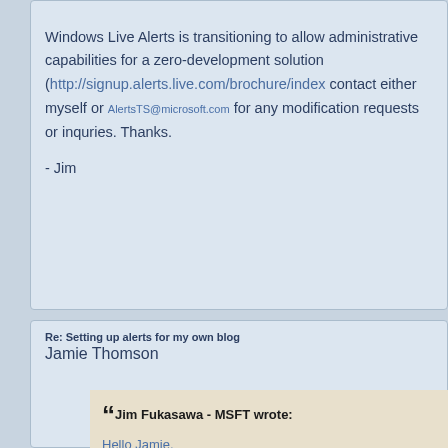Windows Live Alerts is transitioning to allow administrative capabilities for a zero-development solution (http://signup.alerts.live.com/brochure/index contact either myself or AlertsTS@microsoft.com for any modification requests or inquries. Thanks.
- Jim
Re: Setting up alerts for my own blog
Jamie Thomson
Jim Fukasawa - MSFT wrote:
Hello Jamie,